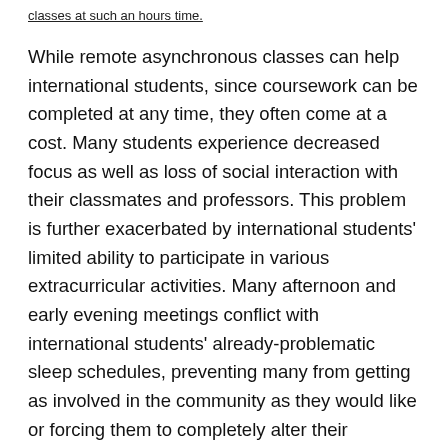classes at such an hours time.
While remote asynchronous classes can help international students, since coursework can be completed at any time, they often come at a cost. Many students experience decreased focus as well as loss of social interaction with their classmates and professors. This problem is further exacerbated by international students' limited ability to participate in various extracurricular activities. Many afternoon and early evening meetings conflict with international students' already-problematic sleep schedules, preventing many from getting as involved in the community as they would like or forcing them to completely alter their schedules to participate.
Joanne Hu '24, Zooming in from Nanjing, China during the fall and spring semesters, has been able to get